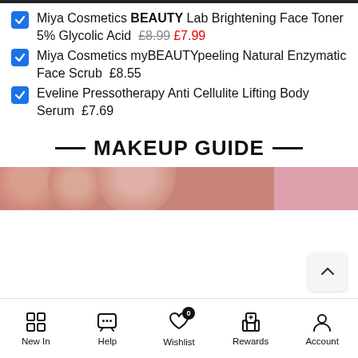Miya Cosmetics BEAUTY Lab Brightening Face Toner 5% Glycolic Acid  £8.99  £7.99
Miya Cosmetics myBEAUTYpeeling Natural Enzymatic Face Scrub  £8.55
Eveline Pressotherapy Anti Cellulite Lifting Body Serum  £7.69
— MAKEUP GUIDE —
[Figure (photo): Close-up photo of skin/face with a pink background section on the right]
New In  Help  Wishlist 0  Rewards  Account